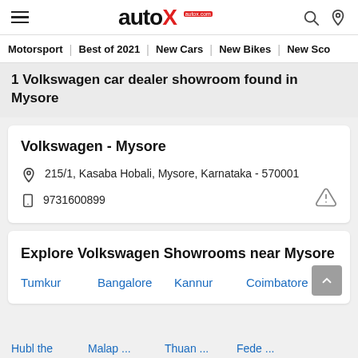autoX - autox.com
Motorsport | Best of 2021 | New Cars | New Bikes | New Sco...
1 Volkswagen car dealer showroom found in Mysore
Volkswagen - Mysore
215/1, Kasaba Hobali, Mysore, Karnataka - 570001
9731600899
Explore Volkswagen Showrooms near Mysore
Tumkur
Bangalore
Kannur
Coimbatore